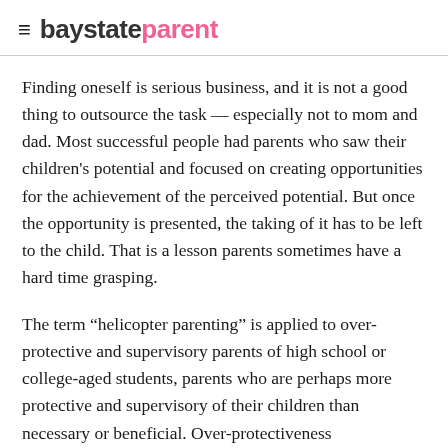baystateparent
Finding oneself is serious business, and it is not a good thing to outsource the task — especially not to mom and dad. Most successful people had parents who saw their children's potential and focused on creating opportunities for the achievement of the perceived potential. But once the opportunity is presented, the taking of it has to be left to the child. That is a lesson parents sometimes have a hard time grasping.
The term “helicopter parenting” is applied to over-protective and supervisory parents of high school or college-aged students, parents who are perhaps more protective and supervisory of their children than necessary or beneficial. Over-protectiveness